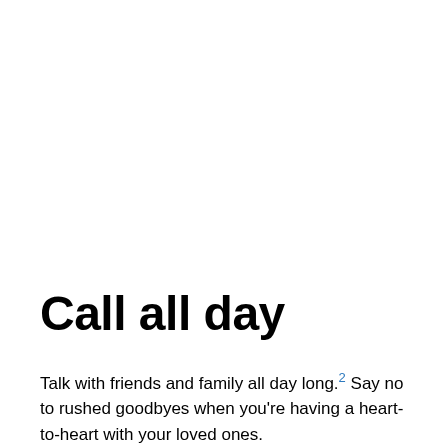Call all day
Talk with friends and family all day long.2 Say no to rushed goodbyes when you're having a heart-to-heart with your loved ones.